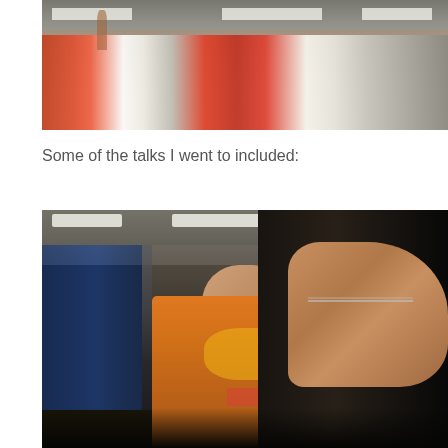[Figure (photo): Photo of a table with food packages and bags, red and white packaging visible, a hand reaching over the items, taken at what appears to be an event or conference registration table.]
Some of the talks I went to included:
[Figure (photo): Photo of two people at what appears to be a conference or talk. A young man in an orange t-shirt with yellow graphic text sits in the foreground, and another person wearing glasses is visible in profile on the right side. Background shows a room with ceiling lights and blue wall graphics.]